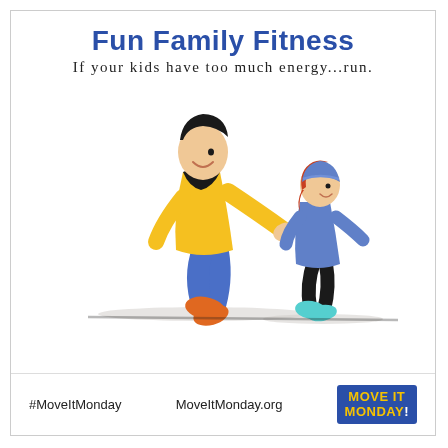Fun Family Fitness
If your kids have too much energy...run.
[Figure (illustration): Illustration of an adult in a yellow hoodie and blue jeans running after a child wearing a blue sweater, beanie hat, and black leggings. Both figures are in a running pose from left to right on a ground shadow line.]
#MoveItMonday    MoveItMonday.org    MOVE IT MONDAY!